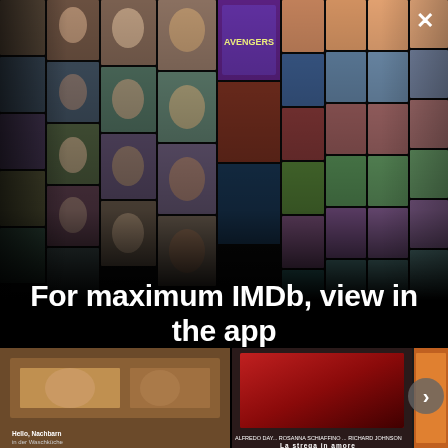[Figure (photo): IMDb app promotional collage showing a grid of celebrity photos and movie/TV show posters arranged in a perspective 3D wall effect on a black background]
For maximum IMDb, view in the app
Get the app
[Figure (photo): Bottom strip showing two movie poster thumbnails partially visible, with a right arrow navigation button]